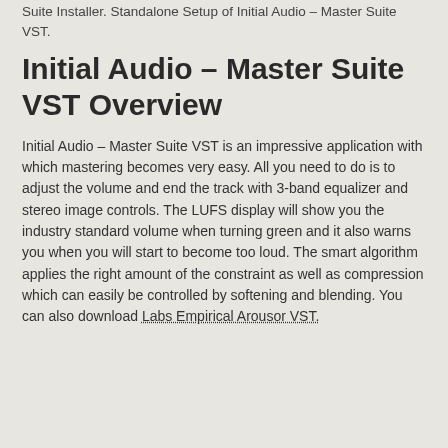Suite Installer. Standalone Setup of Initial Audio – Master Suite VST.
Initial Audio – Master Suite VST Overview
Initial Audio – Master Suite VST is an impressive application with which mastering becomes very easy. All you need to do is to adjust the volume and end the track with 3-band equalizer and stereo image controls. The LUFS display will show you the industry standard volume when turning green and it also warns you when you will start to become too loud. The smart algorithm applies the right amount of the constraint as well as compression which can easily be controlled by softening and blending. You can also download Labs Empirical Arousor VST.